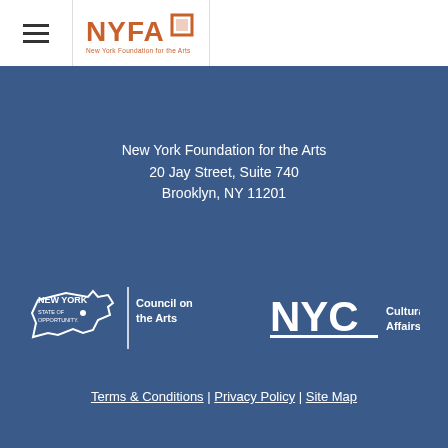[Figure (logo): Hamburger menu icon (three horizontal lines)]
[Figure (logo): NYFA - New York Foundation for the Arts logo in orange]
New York Foundation for the Arts
20 Jay Street, Suite 740
Brooklyn, NY 11201
[Figure (logo): New York State Council on the Arts logo (white) - New York State of Opportunity]
[Figure (logo): NYC Cultural Affairs logo (white)]
Terms & Conditions | Privacy Policy | Site Map